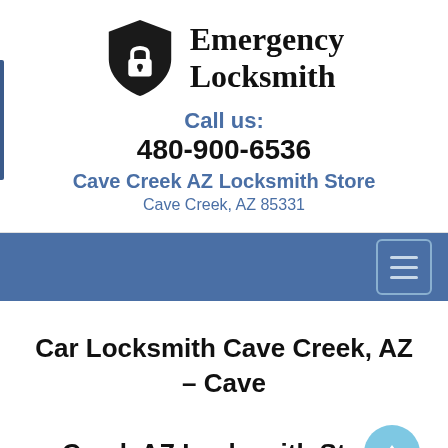[Figure (logo): Emergency Locksmith shield logo with padlock icon and business name]
Call us:
480-900-6536
Cave Creek AZ Locksmith Store
Cave Creek, AZ 85331
[Figure (other): Blue navigation bar with hamburger menu button in top right corner]
Car Locksmith Cave Creek, AZ – Cave Creek AZ Locksmith Store